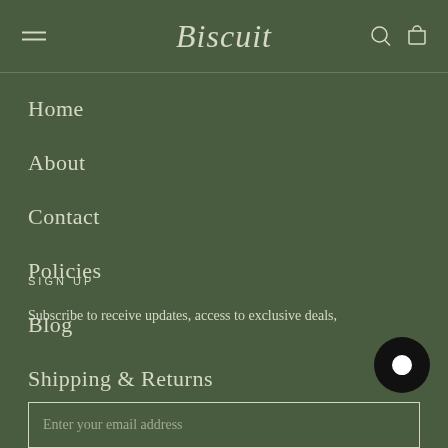Biscuit
Home
About
Contact
Policies
Blog
Shipping & Returns
SIGN UP
Subscribe to receive updates, access to exclusive deals,
Enter your email address